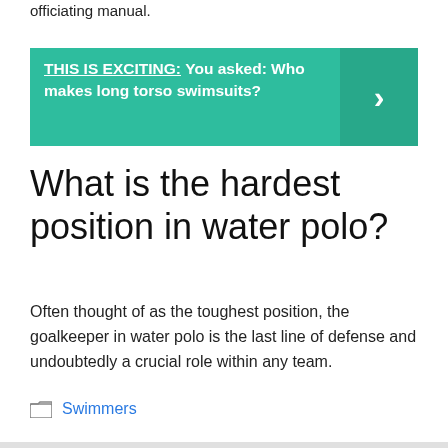officiating manual.
[Figure (infographic): Teal banner with bold white text: 'THIS IS EXCITING: You asked: Who makes long torso swimsuits?' and a darker teal right-arrow chevron panel on the right.]
What is the hardest position in water polo?
Often thought of as the toughest position, the goalkeeper in water polo is the last line of defense and undoubtedly a crucial role within any team.
Swimmers